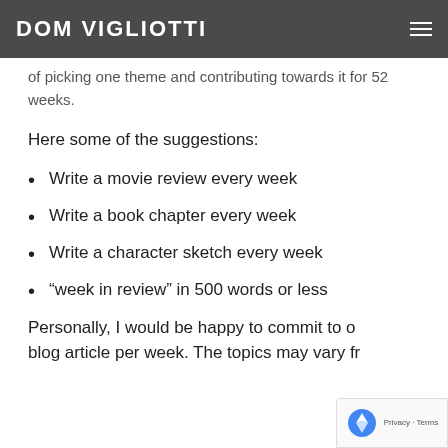DOM VIGLIOTTI
of picking one theme and contributing towards it for 52 weeks.
Here some of the suggestions:
Write a movie review every week
Write a book chapter every week
Write a character sketch every week
“week in review” in 500 words or less
Personally, I would be happy to commit to o... blog article per week. The topics may vary fr...